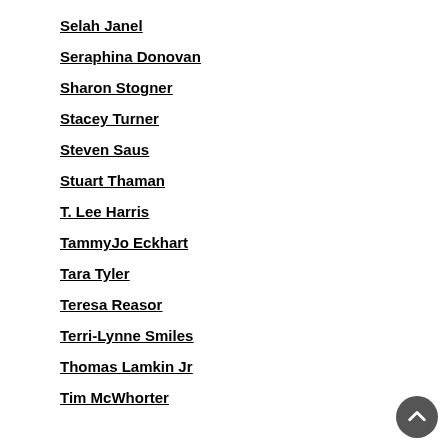Selah Janel
Seraphina Donovan
Sharon Stogner
Stacey Turner
Steven Saus
Stuart Thaman
T. Lee Harris
TammyJo Eckhart
Tara Tyler
Teresa Reasor
Terri-Lynne Smiles
Thomas Lamkin Jr
Tim McWhorter